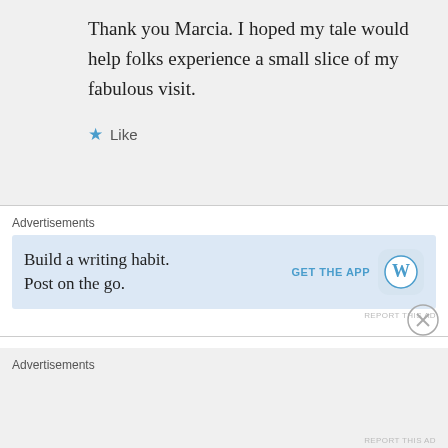Thank you Marcia. I hoped my tale would help folks experience a small slice of my fabulous visit.
★ Like
Advertisements
[Figure (infographic): WordPress app advertisement: Build a writing habit. Post on the go. GET THE APP with WordPress logo]
REPORT THIS AD
jimandbarb on February 27, 2015 at 6:08 am
Wow, what an awesome location! We were in that Tucson area a while back and wished we
Advertisements
REPORT THIS AD